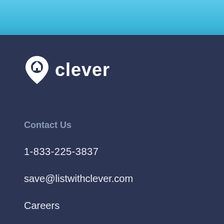[Figure (logo): Clever real estate logo with location pin icon containing a house, followed by the word 'clever' in white text]
Contact Us
1-833-225-3837
save@listwithclever.com
Careers